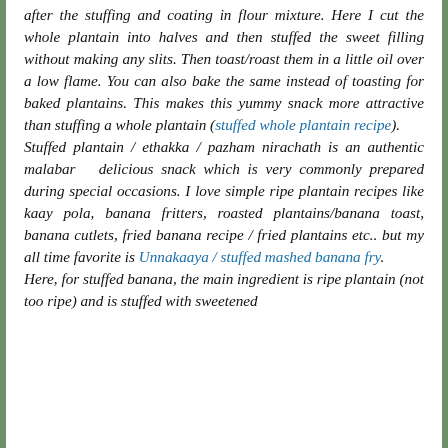after the stuffing and coating in flour mixture. Here I cut the whole plantain into halves and then stuffed the sweet filling without making any slits. Then toast/roast them in a little oil over a low flame. You can also bake the same instead of toasting for baked plantains. This makes this yummy snack more attractive than stuffing a whole plantain (stuffed whole plantain recipe). Stuffed plantain / ethakka / pazham nirachath is an authentic malabar  delicious snack which is very commonly prepared during special occasions. I love simple ripe plantain recipes like kaay pola, banana fritters, roasted plantains/banana toast, banana cutlets, fried banana recipe / fried plantains etc.. but my all time favorite is Unnakaaya / stuffed mashed banana fry. Here, for stuffed banana, the main ingredient is ripe plantain (not too ripe) and is stuffed with sweetened coconut, fine cardamom powder etc.. The filli...